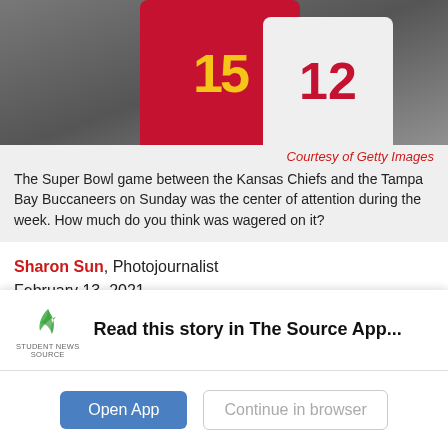[Figure (photo): Football players in Kansas City Chiefs red jersey (number 15) and Tampa Bay Buccaneers white jersey (number 12) during the Super Bowl game.]
Courtesy of Getty Images
The Super Bowl game between the Kansas Chiefs and the Tampa Bay Buccaneers on Sunday was the center of attention during the week. How much do you think was wagered on it?
Sharon Sun, Photojournalist
February 13, 2021
“What are the odds of Liverpool eliminating Barcelona in the Champions League semi-final?” This is the headline of a goal.com article dating back to May 7
Read this story in The Source App...
Open App    Continue in browser